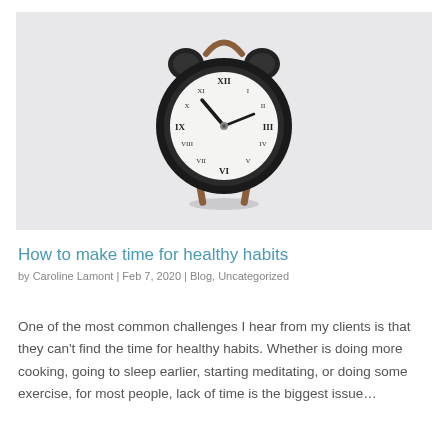[Figure (photo): A vintage black double-bell alarm clock with copper/brown legs and handle, photographed on a light gray-white background. The clock face shows Roman numerals and the hands are pointing roughly to 10:10.]
How to make time for healthy habits
by Caroline Lamont | Feb 7, 2020 | Blog, Uncategorized
One of the most common challenges I hear from my clients is that they can't find the time for healthy habits. Whether is doing more cooking, going to sleep earlier, starting meditating, or doing some exercise, for most people, lack of time is the biggest issue…